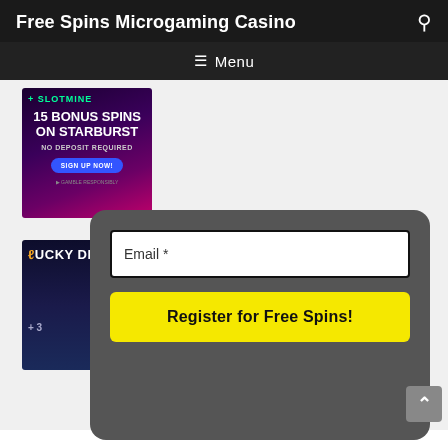Free Spins Microgaming Casino
[Figure (screenshot): Navigation menu bar with hamburger icon and 'Menu' label on dark background]
[Figure (infographic): Slotmine casino ad banner: '+ SLOTMINE', '15 BONUS SPINS ON STARBURST', 'NO DEPOSIT REQUIRED', 'SIGN UP NOW!' button, 'GAMBLE RESPONSIBLY' text, dark purple/pink gradient background]
[Figure (infographic): Lucky Dreams casino ad banner with dark space background, '+ 3' partially visible text]
[Figure (screenshot): Email registration popup form with dark gray rounded background, email input field with border, and yellow 'Register for Free Spins!' button]